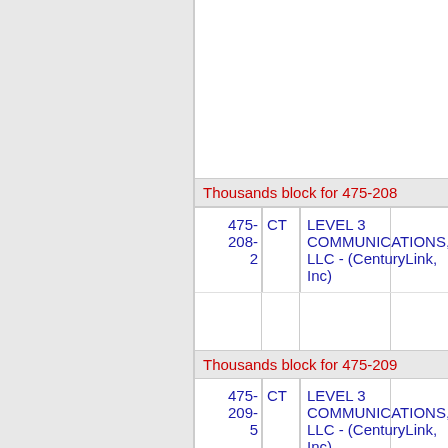Thousands block for 475-208
| Number | State | Company | Address |
| --- | --- | --- | --- |
| 475-208-2 | CT | LEVEL 3 COMMUNICATIONS, LLC - (CenturyLink, Inc) | 4800 M... |
Thousands block for 475-209
| Number | State | Company | Address |
| --- | --- | --- | --- |
| 475-209-5 | CT | LEVEL 3 COMMUNICATIONS, LLC - (CenturyLink, Inc) | 4800 M... |